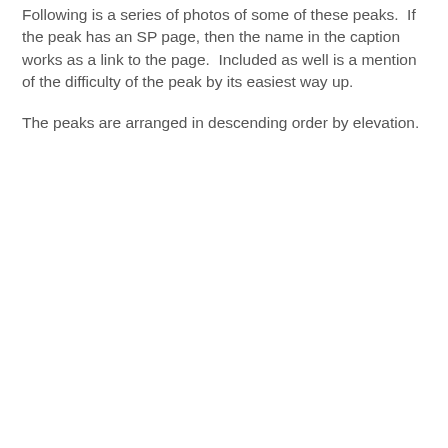Following is a series of photos of some of these peaks.  If the peak has an SP page, then the name in the caption works as a link to the page.  Included as well is a mention of the difficulty of the peak by its easiest way up.
The peaks are arranged in descending order by elevation.